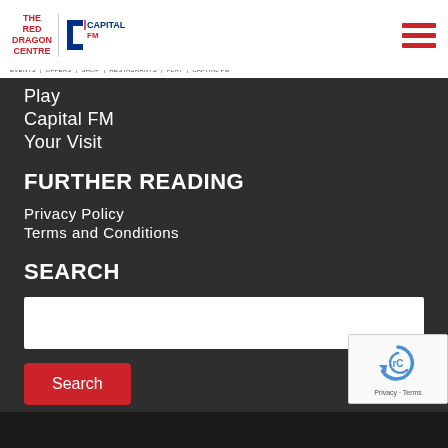THE RED DRAGON CENTRE | Capital FM
Play
Capital FM
Your Visit
FURTHER READING
Privacy Policy
Terms and Conditions
SEARCH
[Search input field]
Search
[Figure (logo): reCAPTCHA badge with spinning arrow logo and Privacy - Terms text]